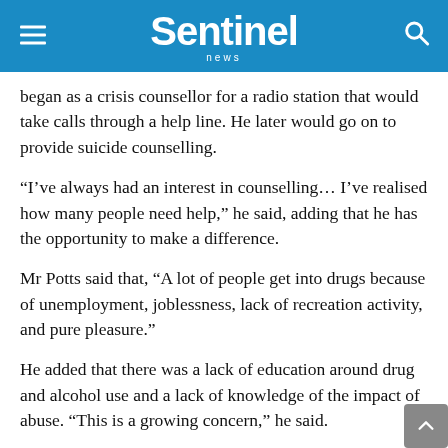Sentinel news
began as a crisis counsellor for a radio station that would take calls through a help line. He later would go on to provide suicide counselling.
“I’ve always had an interest in counselling… I’ve realised how many people need help,” he said, adding that he has the opportunity to make a difference.
Mr Potts said that, “A lot of people get into drugs because of unemployment, joblessness, lack of recreation activity, and pure pleasure.”
He added that there was a lack of education around drug and alcohol use and a lack of knowledge of the impact of abuse. “This is a growing concern,” he said.